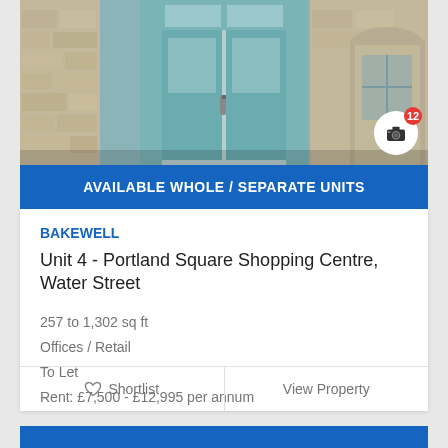[Figure (photo): Exterior photo of Portland Square Shopping Centre showing stone walls and teal/green double glass doors]
AVAILABLE WHOLE / SEPARATE UNITS
BAKEWELL
Unit 4 - Portland Square Shopping Centre, Water Street
257 to 1,302 sq ft
Offices / Retail
To Let
Rent: £7,500 - £12,995 per annum
Shortlist
View Property